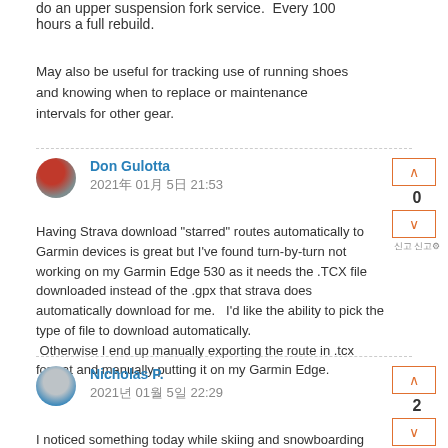do an upper suspension fork service.  Every 100 hours a full rebuild.
May also be useful for tracking use of running shoes and knowing when to replace or maintenance intervals for other gear.
Don Gulotta
2021年 01月 5日 21:53
Having Strava download "starred" routes automatically to Garmin devices is great but I've found turn-by-turn not working on my Garmin Edge 530 as it needs the .TCX file downloaded instead of the .gpx that strava does automatically download for me.   I'd like the ability to pick the type of file to download automatically.  Otherwise I end up manually exporting the route in .tcx format and manually putting it on my Garmin Edge.
Nicholas P.
2021年 01月 5日 22:29
I noticed something today while skiing and snowboarding with a